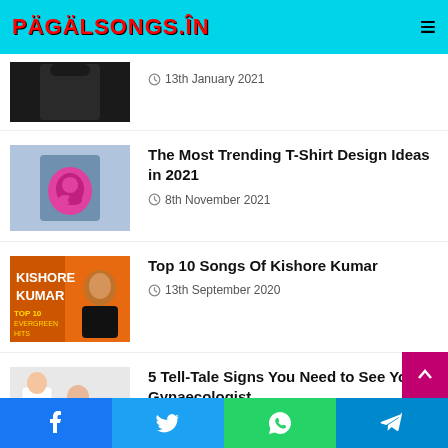PAGALSONGS.IN
13th January 2021
The Most Trending T-Shirt Design Ideas in 2021 — 8th November 2021
Top 10 Songs Of Kishore Kumar — 13th September 2020
5 Tell-Tale Signs You Need to See Your Gynaecologist — 26th July 2021
Top 6 Personalised Gifts For Your Me... — 23rd November 2020